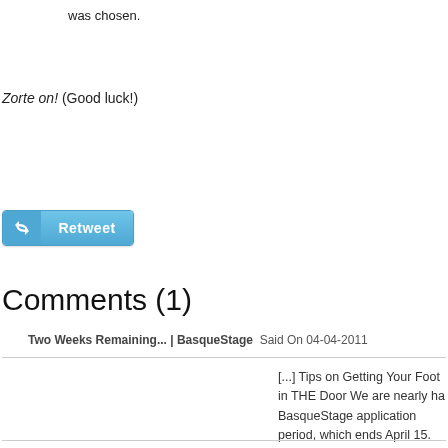was chosen.
Zorte on! (Good luck!)
[Figure (other): Twitter Retweet button with bird icon]
Comments (1)
Two Weeks Remaining... | BasqueStage  Said On 04-04-2011
[...] Tips on Getting Your Foot in THE Door We are nearly ha BasqueStage application period, which ends April 15. Cand chance to win the six-month paid stage in Restaurant Mart submitting their applications.  As we've mentioned before, registration form, resumé, and... [...]